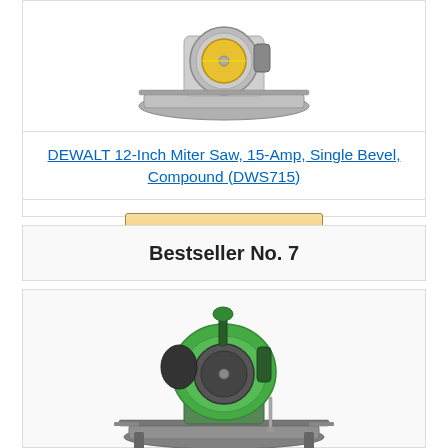[Figure (photo): Gray DEWALT miter saw product photo, top portion visible]
DEWALT 12-Inch Miter Saw, 15-Amp, Single Bevel, Compound (DWS715)
[Figure (other): Buy on Amazon button with Amazon logo]
Bestseller No. 7
[Figure (photo): Green Hitachi miter saw product photo]